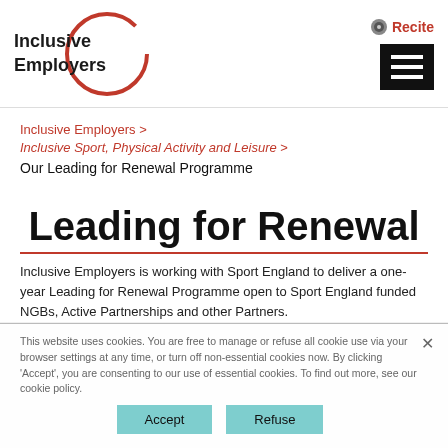Inclusive Employers [logo with red circle] | Recite | hamburger menu
Inclusive Employers >
Inclusive Sport, Physical Activity and Leisure >
Our Leading for Renewal Programme
Leading for Renewal
Inclusive Employers is working with Sport England to deliver a one-year Leading for Renewal Programme open to Sport England funded NGBs, Active Partnerships and other Partners.
This website uses cookies. You are free to manage or refuse all cookie use via your browser settings at any time, or turn off non-essential cookies now. By clicking 'Accept', you are consenting to our use of essential cookies. To find out more, see our cookie policy.